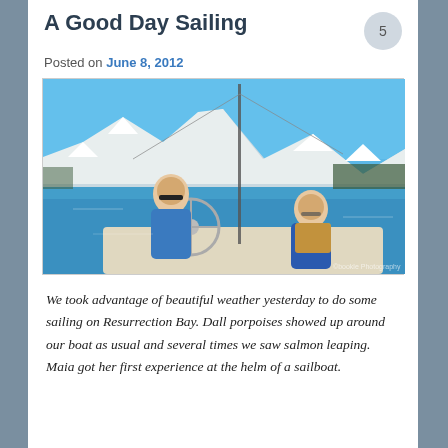A Good Day Sailing
Posted on June 8, 2012
[Figure (photo): Two women on a sailboat on Resurrection Bay, Alaska. One woman in a blue jacket at the helm/steering wheel, another woman in a blue jacket with yellow life vest sitting. Backdrop of snow-capped mountains and blue water under clear skies.]
We took advantage of beautiful weather yesterday to do some sailing on Resurrection Bay. Dall porpoises showed up around our boat as usual and several times we saw salmon leaping. Maia got her first experience at the helm of a sailboat.